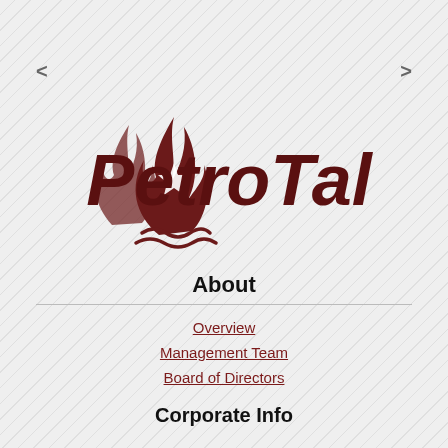[Figure (logo): PetroTal company logo: flame/drop icon with star, and bold italic text 'PetroTal' in dark maroon]
About
Overview
Management Team
Board of Directors
Corporate Info